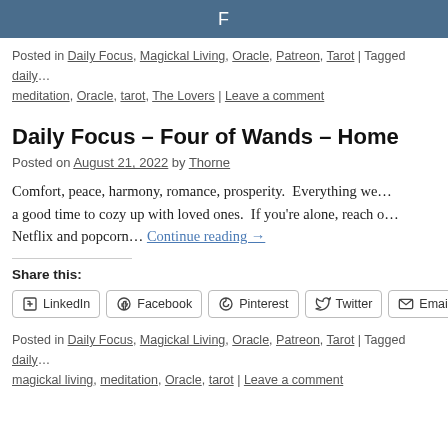F
Posted in Daily Focus, Magickal Living, Oracle, Patreon, Tarot | Tagged daily… meditation, Oracle, tarot, The Lovers | Leave a comment
Daily Focus – Four of Wands – Home
Posted on August 21, 2022 by Thorne
Comfort, peace, harmony, romance, prosperity.  Everything we… a good time to cozy up with loved ones.  If you're alone, reach o… Netflix and popcorn… Continue reading →
Share this:
LinkedIn  Facebook  Pinterest  Twitter  Email
Posted in Daily Focus, Magickal Living, Oracle, Patreon, Tarot | Tagged daily… magickal living, meditation, Oracle, tarot | Leave a comment